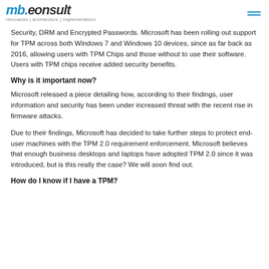mb.eonsult — Innovation | Architecture | Implementation
Security, DRM and Encrypted Passwords. Microsoft has been rolling out support for TPM across both Windows 7 and Windows 10 devices, since as far back as 2016, allowing users with TPM Chips and those without to use their software. Users with TPM chips receive added security benefits.
Why is it important now?
Microsoft released a piece detailing how, according to their findings, user information and security has been under increased threat with the recent rise in firmware attacks.
Due to their findings, Microsoft has decided to take further steps to protect end-user machines with the TPM 2.0 requirement enforcement. Microsoft believes that enough business desktops and laptops have adopted TPM 2.0 since it was introduced, but is this really the case? We will soon find out.
How do I know if I have a TPM?